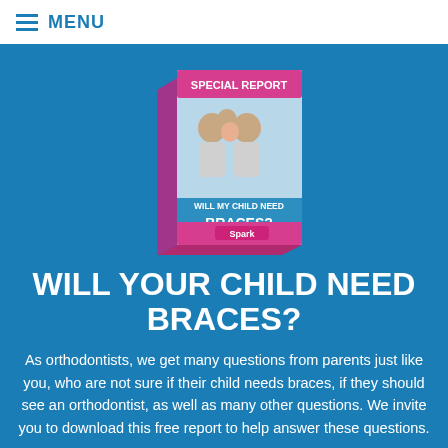MENU
[Figure (illustration): A 3D book cover titled 'SPECIAL REPORT: WILL MY CHILD NEED BRACES?' showing a smiling family of four (parents and two children), with a pink bottom band featuring the Spark logo]
WILL YOUR CHILD NEED BRACES?
As orthodontists, we get many questions from parents just like you, who are not sure if their child needs braces, if they should see an orthodontist, as well as many other questions. We invite you to download this free report to help answer these questions.